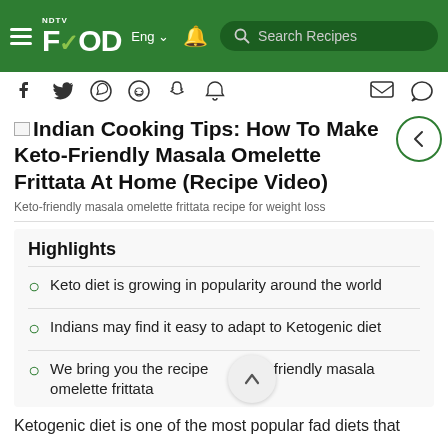NDTV FOOD — Eng | Search Recipes
Indian Cooking Tips: How To Make Keto-Friendly Masala Omelette Frittata At Home (Recipe Video)
Keto-friendly masala omelette frittata recipe for weight loss
Highlights
Keto diet is growing in popularity around the world
Indians may find it easy to adapt to Ketogenic diet
We bring you the recipe of keto-friendly masala omelette frittata
Ketogenic diet is one of the most popular fad diets that